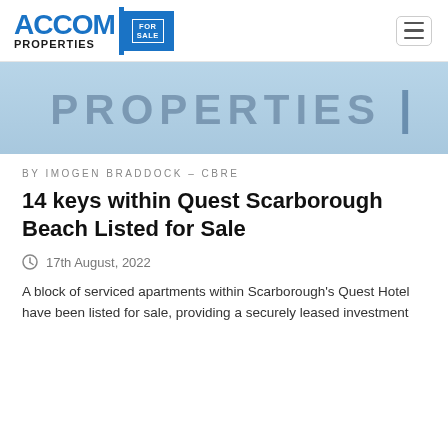ACCOM PROPERTIES FOR SALE [navigation logo and hamburger menu]
[Figure (illustration): Light blue banner with large faded text reading PROPERTIES]
BY IMOGEN BRADDOCK – CBRE
14 keys within Quest Scarborough Beach Listed for Sale
17th August, 2022
A block of serviced apartments within Scarborough's Quest Hotel have been listed for sale, providing a securely leased investment